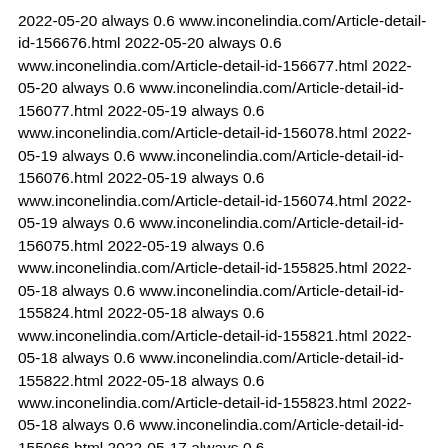2022-05-20 always 0.6 www.inconelindia.com/Article-detail-id-156676.html 2022-05-20 always 0.6 www.inconelindia.com/Article-detail-id-156677.html 2022-05-20 always 0.6 www.inconelindia.com/Article-detail-id-156077.html 2022-05-19 always 0.6 www.inconelindia.com/Article-detail-id-156078.html 2022-05-19 always 0.6 www.inconelindia.com/Article-detail-id-156076.html 2022-05-19 always 0.6 www.inconelindia.com/Article-detail-id-156074.html 2022-05-19 always 0.6 www.inconelindia.com/Article-detail-id-156075.html 2022-05-19 always 0.6 www.inconelindia.com/Article-detail-id-155825.html 2022-05-18 always 0.6 www.inconelindia.com/Article-detail-id-155824.html 2022-05-18 always 0.6 www.inconelindia.com/Article-detail-id-155821.html 2022-05-18 always 0.6 www.inconelindia.com/Article-detail-id-155822.html 2022-05-18 always 0.6 www.inconelindia.com/Article-detail-id-155823.html 2022-05-18 always 0.6 www.inconelindia.com/Article-detail-id-155066.html 2022-05-17 always 0.6 www.inconelindia.com/Article-detail-id-155064.html 2022-05-17 always 0.6 www.inconelindia.com/Article-detail-id-155065.html 2022-05-17 always 0.6 www.inconelindia.com/Article-detail-id-155062.html 2022-05-17 always 0.6 www.inconelindia.com/Article-detail-id-155063.html 2022-05-17 always 0.6 www.inconelindia.com/Article-detail-id-154962.html 2022-05-16 always 0.6 www.inconelindia.com/Article-detail-id-